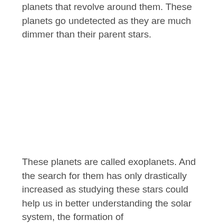planets that revolve around them. These planets go undetected as they are much dimmer than their parent stars.
These planets are called exoplanets. And the search for them has only drastically increased as studying these stars could help us in better understanding the solar system, the formation of